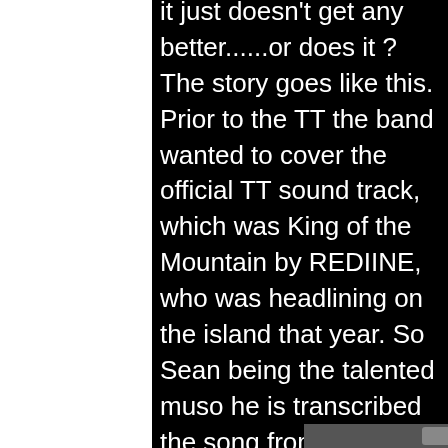it just doesn't get any better......or does it ? The story goes like this.  Prior to the TT the band wanted to cover the official TT sound track, which was King of the Mountain by REDIINE, who was headlining on the island that year. So Sean being the talented muso he is transcribed the song from watching the band online. Anyway second gig into the 2015 tour w[...]ing the